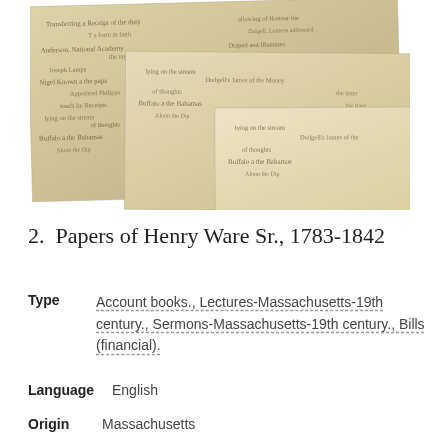[Figure (photo): Stacked vintage handwritten manuscript pages with cursive script, yellowed paper with historical documents]
2.  Papers of Henry Ware Sr., 1783-1842
Type   Account books., Lectures-Massachusetts-19th century., Sermons-Massachusetts-19th century., Bills (financial).
Language   English
Origin   Massachusetts